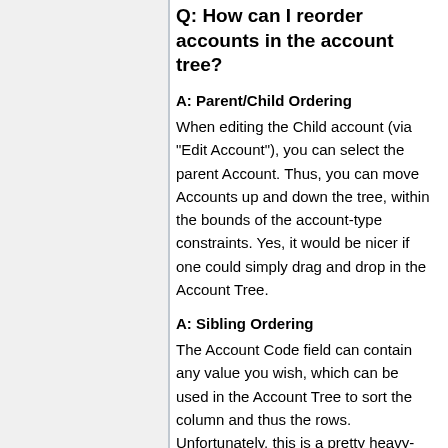Q: How can I reorder accounts in the account tree?
A: Parent/Child Ordering
When editing the Child account (via "Edit Account"), you can select the parent Account. Thus, you can move Accounts up and down the tree, within the bounds of the account-type constraints. Yes, it would be nicer if one could simply drag and drop in the Account Tree.
A: Sibling Ordering
The Account Code field can contain any value you wish, which can be used in the Account Tree to sort the column and thus the rows. Unfortunately, this is a pretty heavy-handed sort that applies to the whole view, not just a sub-tree.